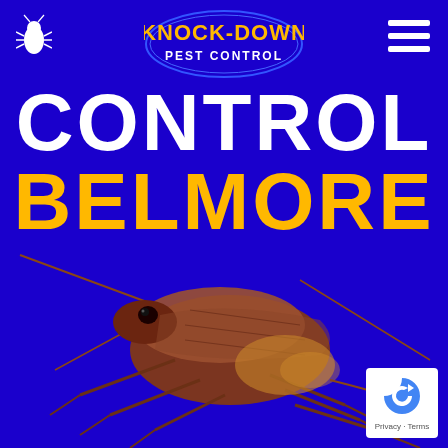[Figure (logo): Knock-Down Pest Control logo in blue oval with yellow text]
CONTROL BELMORE
[Figure (illustration): Realistic 3D brown cockroach on blue background, side view with antennae extended]
[Figure (logo): Google reCAPTCHA badge with Privacy and Terms text]